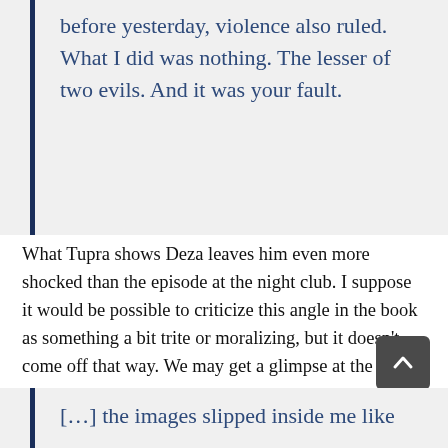before yesterday, violence also ruled. What I did was nothing. The lesser of two evils. And it was your fault.
What Tupra shows Deza leaves him even more shocked than the episode at the night club. I suppose it would be possible to criticize this angle in the book as something a bit trite or moralizing, but it doesn't come off that way. We may get a glimpse at the horrors otherwise decent people do to maintain their power, but this books really delves into the different ways someone can manipulate others — or himself — with language. For example, here is how Deza responds after he sees what Tupra has to show him:
[…] the images slipped inside me like